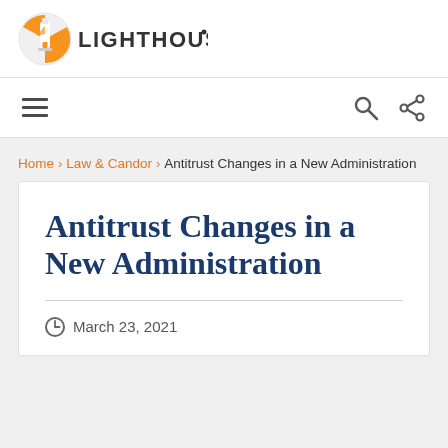[Figure (logo): Lighthouse logo: orange circle with lighthouse icon and the text LIGHTHOUSE in dark gray bold]
[Figure (other): Navigation bar with hamburger menu icon on the left and search/share icons on the right]
Home > Law & Candor > Antitrust Changes in a New Administration
Antitrust Changes in a New Administration
March 23, 2021